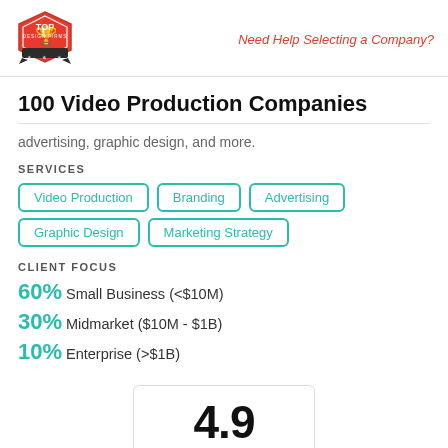Top Design Firms | Need Help Selecting a Company?
100 Video Production Companies
advertising, graphic design, and more.
SERVICES
Video Production
Branding
Advertising
Graphic Design
Marketing Strategy
CLIENT FOCUS
60% Small Business (<$10M)
30% Midmarket ($10M - $1B)
10% Enterprise (>$1B)
4.9